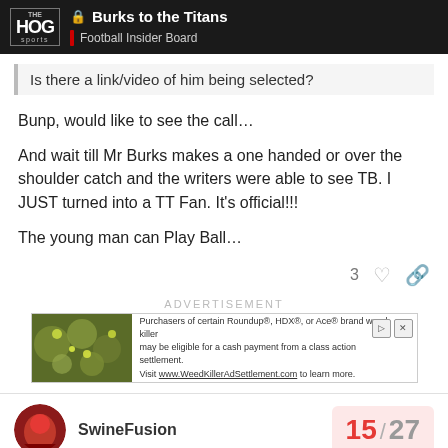🔒 Burks to the Titans | Football Insider Board
Is there a link/video of him being selected?
Bunp, would like to see the call…

And wait till Mr Burks makes a one handed or over the shoulder catch and the writers were able to see TB. I JUST turned into a TT Fan. It's official!!!

The young man can Play Ball…
3
[Figure (infographic): Advertisement banner for Roundup, HDX, or Ace brand weed killer class action settlement. Visit www.WeedKillerAdSettlement.com to learn more.]
SwineFusion
15 / 27